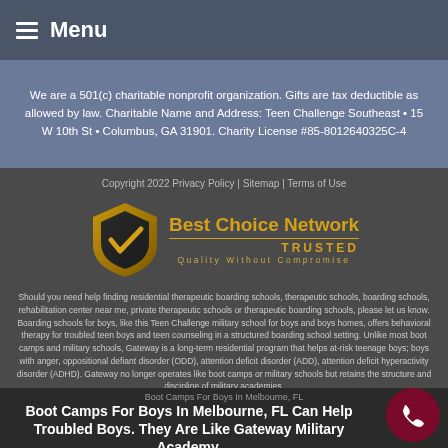Menu
We are a 501(c) charitable nonprofit organization. Gifts are tax deductible as allowed by law. Charitable Name and Address: Teen Challenge Southeast • 15 W 10th St • Columbus, GA 31901. Charity License #85-8012640325C-4
Copyright 2022 Privacy Policy | Sitemap | Terms of Use
[Figure (logo): Best Choice Network Trusted - Quality Without Compromise logo with gold shield and checkmark]
Should you need help finding residential therapeutic boarding schools, therapeutic schools, boarding schools, rehabilitation center near me, private therapeutic schools or therapeutic boarding schools, please let us know. Boarding schools for boys, like this Teen Challenge military school for boys and boys homes, offers behavioral therapy for troubled teen boys and teen counseling in a structured boarding school setting. Unlike most boot camps and military schools, Gateway is a long-term residential program that helps at-risk teenage boys; boys with anger, oppositional defiant disorder (ODD), attention deficit disorder (ADD), attention deficit hyperactivity disorder (ADHD). Gateway no longer operates like boot camps or military schools but retains the structure and discipline of military academies.
Boot Camps For Boys In Melbourne, FL
Boot Camps For Boys In Melbourne, FL Can Help Troubled Boys. They Are Like Gateway Military Academy.